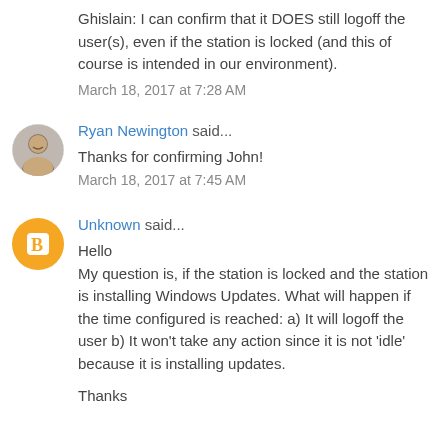Ghislain: I can confirm that it DOES still logoff the user(s), even if the station is locked (and this of course is intended in our environment).
March 18, 2017 at 7:28 AM
Ryan Newington said...
Thanks for confirming John!
March 18, 2017 at 7:45 AM
Unknown said...
Hello
My question is, if the station is locked and the station is installing Windows Updates. What will happen if the time configured is reached: a) It will logoff the user b) It won't take any action since it is not 'idle' because it is installing updates.

Thanks